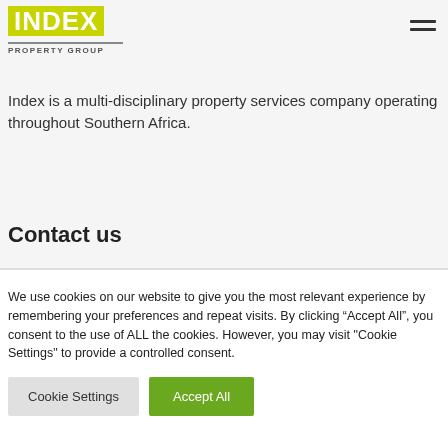[Figure (logo): Index Property Group logo — yellow/green background with white bold text 'INDEX', horizontal gray line, and bold gray text 'PROPERTY GROUP']
Index is a multi-disciplinary property services company operating throughout Southern Africa.
Contact us
We use cookies on our website to give you the most relevant experience by remembering your preferences and repeat visits. By clicking “Accept All”, you consent to the use of ALL the cookies. However, you may visit "Cookie Settings" to provide a controlled consent.